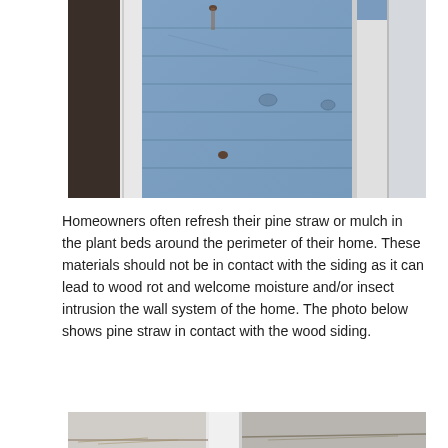[Figure (photo): Close-up photo of blue painted wood siding on a house exterior, showing rust stains from nails and weathered paint on horizontal boards, with white trim visible on the left side.]
Homeowners often refresh their pine straw or mulch in the plant beds around the perimeter of their home. These materials should not be in contact with the siding as it can lead to wood rot and welcome moisture and/or insect intrusion the wall system of the home. The photo below shows pine straw in contact with the wood siding.
[Figure (photo): Partial photo showing the bottom of wood siding with pine straw in contact with it, demonstrating the condition described in the text above.]